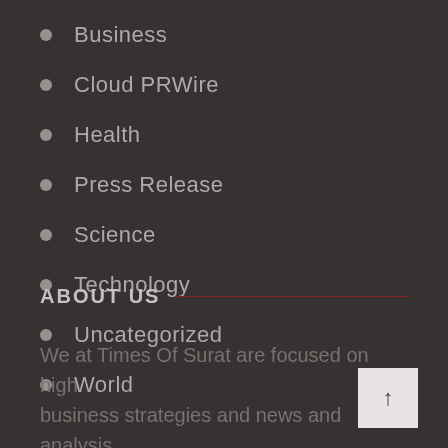Business
Cloud PRWire
Health
Press Release
Science
Technology
Uncategorized
World
ABOUT US
We at Times Of Surat are focused on high business strategies and news and analysis the different topics like Health, Technology, Science, World, Business.